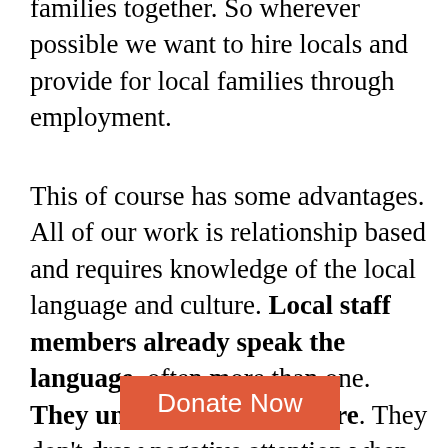families together. So wherever possible we want to hire locals and provide for local families through employment.
This of course has some advantages. All of our work is relationship based and requires knowledge of the local language and culture. Local staff members already speak the language, often more than one. They understand the culture. They don't draw negative attention when they go into villages to work. They don't need help finding housing or transportation. They
[Figure (other): Orange/red 'Donate Now' button overlay at bottom of page]